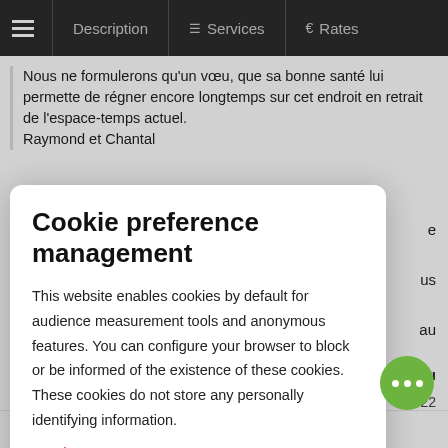Description | Services | Rates
Nous ne formulerons qu'un vœu, que sa bonne santé lui permette de régner encore longtemps sur cet endroit en retrait de l'espace-temps actuel.
Raymond et Chantal
Cookie preference management
This website enables cookies by default for audience measurement tools and anonymous features. You can configure your browser to block or be informed of the existence of these cookies. These cookies do not store any personally identifying information.
Read more
No thanks | I choose | Ok for me
Nous avons passé une magnifique semaine. Sébastien est